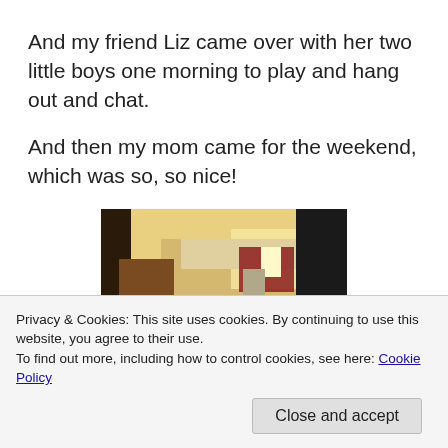And my friend Liz came over with her two little boys one morning to play and hang out and chat.
And then my mom came for the weekend, which was so, so nice!
[Figure (photo): Indoor photo showing two people from behind in a kitchen/living area with warm yellow lighting and dark curtains]
Privacy & Cookies: This site uses cookies. By continuing to use this website, you agree to their use.
To find out more, including how to control cookies, see here: Cookie Policy
Close and accept